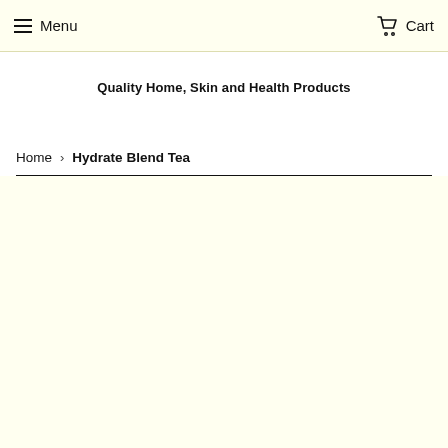Menu   Cart
Quality Home, Skin and Health Products
Home › Hydrate Blend Tea